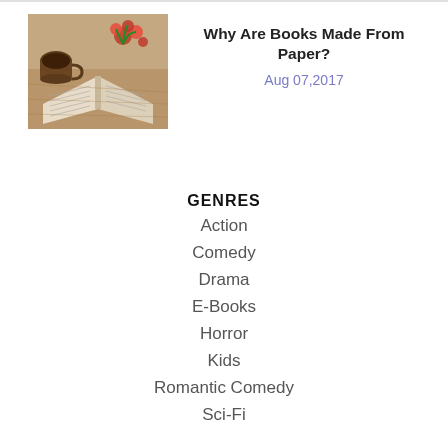[Figure (photo): Photo of an open book with a coffee cup and red berries/flowers on a wooden surface, warm toned]
Why Are Books Made From Paper?
Aug 07,2017
GENRES
Action
Comedy
Drama
E-Books
Horror
Kids
Romantic Comedy
Sci-Fi